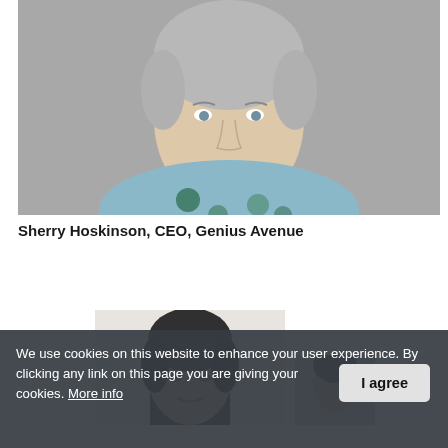[Figure (photo): Portrait photo of Sherry Hoskinson, an older woman with short grey hair, wearing a blue floral top, against a grey background.]
Sherry Hoskinson, CEO, Genius Avenue
[Figure (photo): Partial portrait photo of a man with dark hair, cropped at bottom of page.]
[Figure (photo): Partial portrait photo of another person, cropped at bottom of page.]
We use cookies on this website to enhance your user experience. By clicking any link on this page you are giving your consent to set cookies. More info